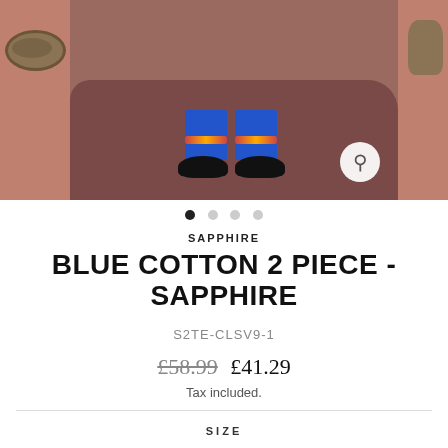[Figure (photo): Product photo showing lower half of model wearing blue cotton pants with embroidered hem and black sandals, standing on dark mauve fabric backdrop with brass singing bowls and vases visible on sides]
SAPPHIRE
BLUE COTTON 2 PIECE - SAPPHIRE
S2TE-CLSV9-1
£58.99  £41.29
Tax included.
SIZE